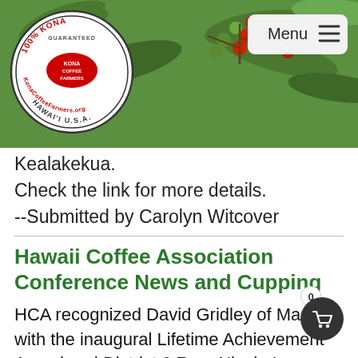[Figure (photo): Header photo of coffee plant with red and green coffee berries/cherries, overlaid with 100% Kona KonaCoffeeFarmers.org Hawai'i U.S.A. logo and Menu button]
Kealakekua.
Check the link for more details.
--Submitted by Carolyn Witcover
Hawaii Coffee Association Conference News and Cupping
HCA recognized David Gridley of Maui with the inaugural Lifetime Achievement Award and District 6 Rep. Nicole Lowen was named HCA's 2022 Legislator of the Year. Lowen was lauded for her leadership on HB 1517, which sought to amend Hawaii's minimum coffee blending ratio from 10% to 51%, while Gridley was hailed for a long and storied career in Hawaii's coffee industry, dating back to